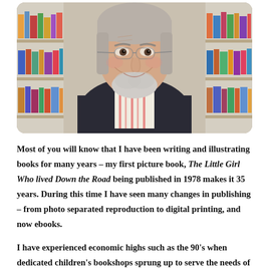[Figure (photo): A smiling older man with grey hair and beard wearing glasses and a striped shirt, photographed in front of bookshelves filled with colorful books.]
Most of you will know that I have been writing and illustrating books for many years – my first picture book, The Little Girl Who lived Down the Road being published in 1978 makes it 35 years. During this time I have seen many changes in publishing – from photo separated reproduction to digital printing, and now ebooks.
I have experienced economic highs such as the 90's when dedicated children's bookshops sprung up to serve the needs of young parents